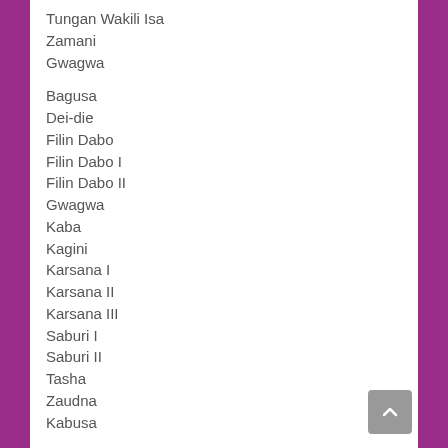Tungan Wakili Isa
Zamani
Gwagwa
Bagusa
Dei-die
Filin Dabo
Filin Dabo I
Filin Dabo II
Gwagwa
Kaba
Kagini
Karsana I
Karsana II
Karsana III
Saburi I
Saburi II
Tasha
Zaudna
Kabusa